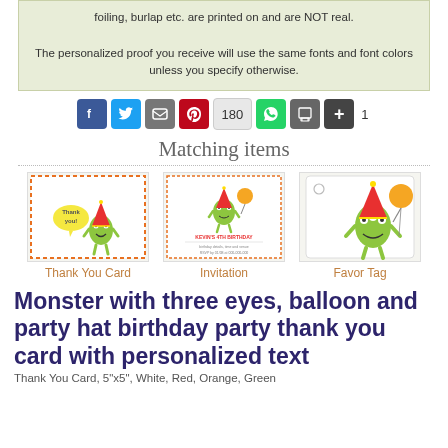foiling, burlap etc. are printed on and are NOT real.

The personalized proof you receive will use the same fonts and font colors unless you specify otherwise.
[Figure (infographic): Social share buttons: Facebook, Twitter, Email, Pinterest, 180 share count, WhatsApp, Print, More (+), and count 1]
Matching items
[Figure (illustration): Three matching product thumbnails: Thank You Card (green monster with party hat), Invitation (monster birthday invitation), Favor Tag (monster with balloon and party hat)]
Thank You Card    Invitation    Favor Tag
Monster with three eyes, balloon and party hat birthday party thank you card with personalized text
Thank You Card, 5"x5", White, Red, Orange, Green